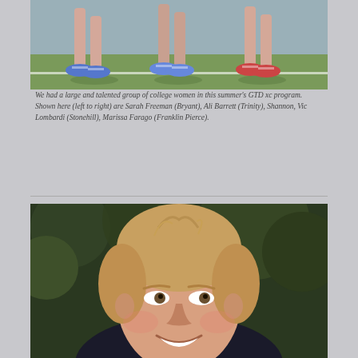[Figure (photo): Partial view of runners' feet and lower legs on a track or grass surface, wearing blue running shoes. The runners appear to be in mid-stride.]
We had a large and talented group of college women in this summer's GTD xc program. Shown here (left to right) are Sarah Freeman (Bryant), Ali Barrett (Trinity), Shannon, Vic Lombardi (Stonehill), Marissa Farago (Franklin Pierce).
[Figure (photo): Close-up portrait photo of a young woman with blonde hair pulled back, smiling, appearing to be an athlete outdoors.]